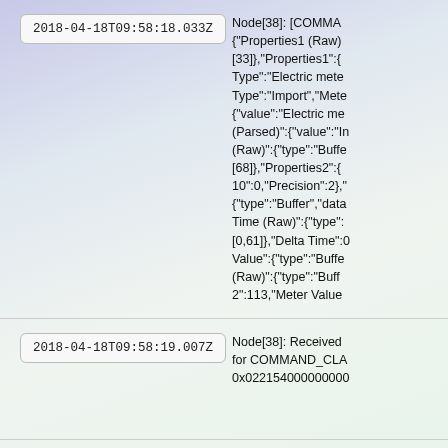2018-04-18T09:58:18.033Z
Node[38]: [COMMAND_{"Properties1 (Raw)[33]},"Properties1":{"Type":"Electric mete Type":"Import","Mete {"value":"Electric me (Parsed)":{"value":"Im (Raw)":{"type":"Buffe [68]},"Properties2":{ 10":0,"Precision":2}," {"type":"Buffer","data Time (Raw)":{"type": [0,61]},"Delta Time":0 Value":{"type":"Buffe (Raw)":{"type":"Buff 2":113,"Meter Value
2018-04-18T09:58:19.007Z
Node[38]: Received for COMMAND_CLA 0x022154000000000
2018-04-18T09:58:19.009Z
Node[38]: [COMMAND_{"Properties1 (Raw)